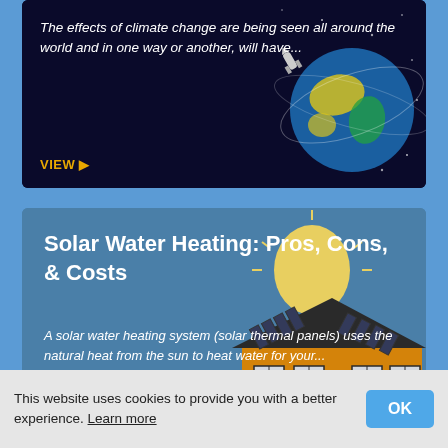[Figure (screenshot): Top card with dark space background showing a globe/earth illustration with colorful continents. Text overlay in italic white reads about climate change.]
The effects of climate change are being seen all around the world and in one way or another, will have...
VIEW ▶
[Figure (screenshot): Bottom card with teal/blue background showing a cartoon illustration of a house with solar thermal panels on the roof and a sun above.]
Solar Water Heating: Pros, Cons, & Costs
A solar water heating system (solar thermal panels) uses the natural heat from the sun to heat water for your...
VIEW ▶
This website uses cookies to provide you with a better experience. Learn more